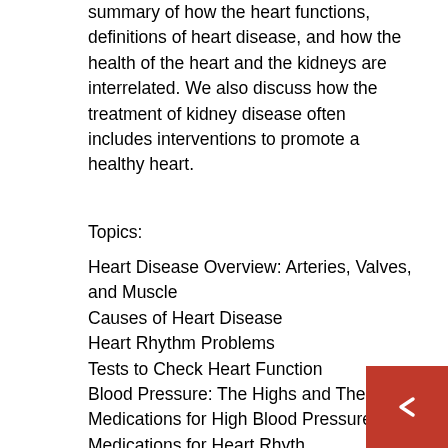summary of how the heart functions, definitions of heart disease, and how the health of the heart and the kidneys are interrelated. We also discuss how the treatment of kidney disease often includes interventions to promote a healthy heart.
Topics:
Heart Disease Overview: Arteries, Valves, and Muscle
Causes of Heart Disease
Heart Rhythm Problems
Tests to Check Heart Function
Blood Pressure: The Highs and The Lows
Medications for High Blood Pressure
Medications for Heart Rhythm...